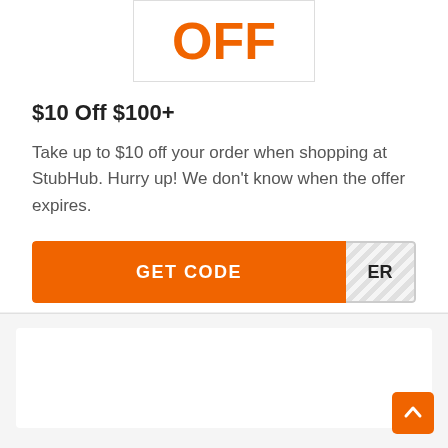[Figure (other): Coupon image area showing 'OFF' in large orange text inside a bordered box]
$10 Off $100+
Take up to $10 off your order when shopping at StubHub. Hurry up! We don't know when the offer expires.
[Figure (other): Orange 'GET CODE' button with hatched code reveal area showing 'ER' on the right side]
[Figure (other): Back to top orange button with upward arrow in bottom right corner]